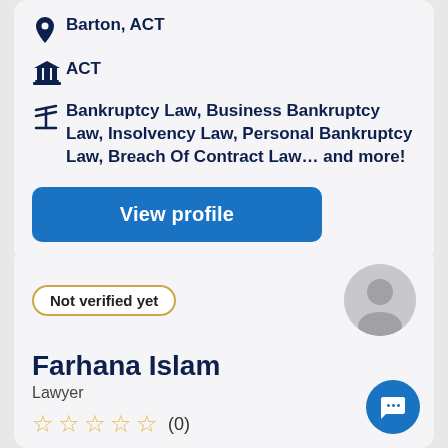Barton, ACT
ACT
Bankruptcy Law, Business Bankruptcy Law, Insolvency Law, Personal Bankruptcy Law, Breach Of Contract Law... and more!
View profile
Not verified yet
Farhana Islam
Lawyer
(0)
Barton, ACT